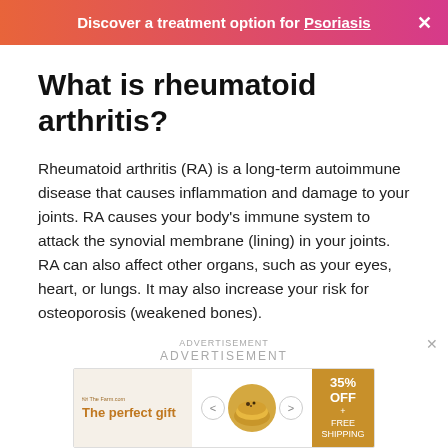Discover a treatment option for Psoriasis
What is rheumatoid arthritis?
Rheumatoid arthritis (RA) is a long-term autoimmune disease that causes inflammation and damage to your joints. RA causes your body's immune system to attack the synovial membrane (lining) in your joints. RA can also affect other organs, such as your eyes, heart, or lungs. It may also increase your risk for osteoporosis (weakened bones).
[Figure (other): Advertisement banner for 'The perfect gift' showing a food product with navigation arrows and a '35% OFF + FREE SHIPPING' offer badge]